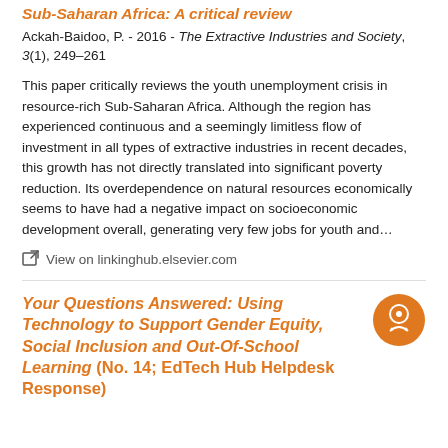Sub-Saharan Africa: A critical review
Ackah-Baidoo, P. - 2016 - The Extractive Industries and Society, 3(1), 249–261
This paper critically reviews the youth unemployment crisis in resource-rich Sub-Saharan Africa. Although the region has experienced continuous and a seemingly limitless flow of investment in all types of extractive industries in recent decades, this growth has not directly translated into significant poverty reduction. Its overdependence on natural resources economically seems to have had a negative impact on socioeconomic development overall, generating very few jobs for youth and...
View on linkinghub.elsevier.com
Your Questions Answered: Using Technology to Support Gender Equity, Social Inclusion and Out-Of-School Learning (No. 14; EdTech Hub Helpdesk Response)